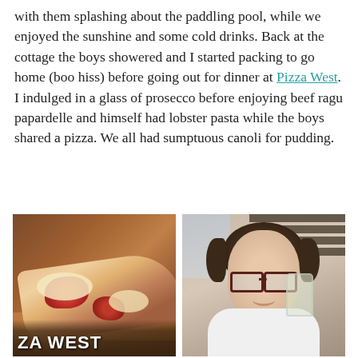with them splashing about the paddling pool, while we enjoyed the sunshine and some cold drinks. Back at the cottage the boys showered and I started packing to go home (boo hiss) before going out for dinner at Pizza West. I indulged in a glass of prosecco before enjoying beef ragu papardelle and himself had lobster pasta while the boys shared a pizza. We all had sumptuous canoli for pudding.
[Figure (photo): Close-up photo of a pizza slice with tomato sauce and melted cheese on a wooden board, with 'ZA WEST' text visible at the bottom (partial Pizza West branding)]
[Figure (photo): Photo of a woman with curly dark hair and red-framed glasses, smiling and holding up a glass, wearing a white top, with window blinds visible in the background]